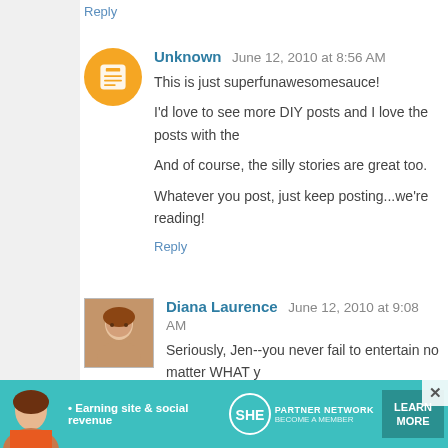Reply
Unknown  June 12, 2010 at 8:56 AM
This is just superfunawesomesauce!

I'd love to see more DIY posts and I love the posts with the

And of course, the silly stories are great too.

Whatever you post, just keep posting...we're reading!
Reply
Diana Laurence  June 12, 2010 at 9:08 AM
Seriously, Jen--you never fail to entertain no matter WHAT y
Reply
Angela  June 12, 2010 at 9:21 AM
That.is.amazing.

I never gave my father enough credit, it seems... it wa
[Figure (infographic): SHE Partner Network advertisement banner with tagline 'Earning site & social revenue', logo, and 'LEARN MORE' button]